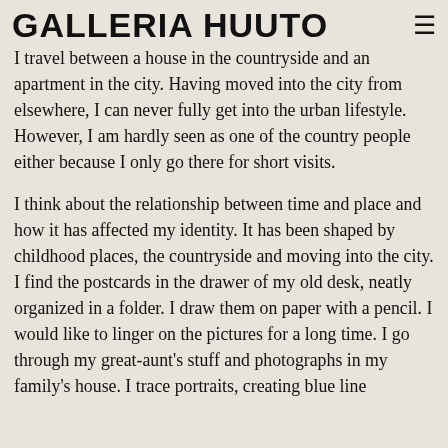GALLERIA HUUTO
I travel between a house in the countryside and an apartment in the city. Having moved into the city from elsewhere, I can never fully get into the urban lifestyle. However, I am hardly seen as one of the country people either because I only go there for short visits.
I think about the relationship between time and place and how it has affected my identity. It has been shaped by childhood places, the countryside and moving into the city. I find the postcards in the drawer of my old desk, neatly organized in a folder. I draw them on paper with a pencil. I would like to linger on the pictures for a long time. I go through my great-aunt's stuff and photographs in my family's house. I trace portraits, creating blue line